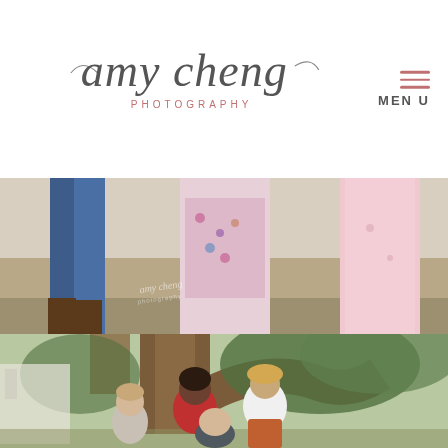amy cheng PHOTOGRAPHY — MENU
[Figure (photo): Close-up photo of children's lower bodies standing outdoors — boy in jeans and boots, girls in floral and pink dresses, with Amy Cheng Photography watermark]
[Figure (photo): Family portrait photo outdoors under large tree — family of five including mother in red dress, teenage girl in white top with rust skirt, young boy in grey shirt, father, and young child, all smiling]